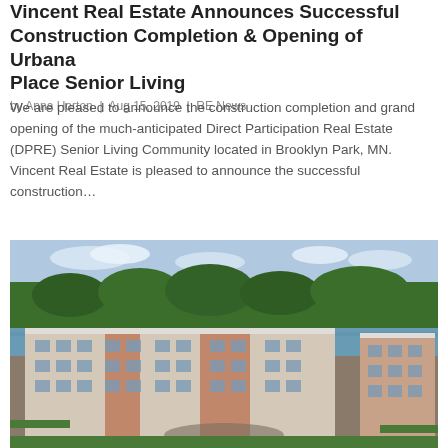Vincent Real Estate Announces Successful Construction Completion & Opening of Urbana Place Senior Living
by Anna Horton  |  Aug 15, 2019  |  RE News
We are pleased to announce the construction completion and grand opening of the much-anticipated Direct Participation Real Estate (DPRE) Senior Living Community located in Brooklyn Park, MN. Vincent Real Estate is pleased to announce the successful construction…
[Figure (photo): Aerial view of Urbana Place Senior Living building complex in Brooklyn Park, MN, showing a large multi-story brick apartment building with a lake and green forest in the background.]